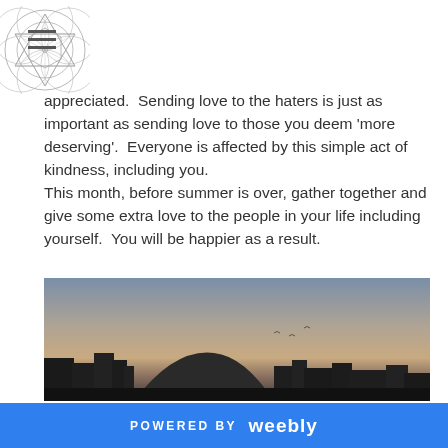[Navigation menu icon + geometric star logo]
appreciated.  Sending love to the haters is just as important as sending love to those you deem 'more deserving'.  Everyone is affected by this simple act of kindness, including you.
This month, before summer is over, gather together and give some extra love to the people in your life including yourself.  You will be happier as a result.
[Figure (photo): Sunset sky photo with silhouette of city buildings in the foreground. Sky gradient from blue-grey at top to warm orange-pink near horizon.]
POWERED BY weebly